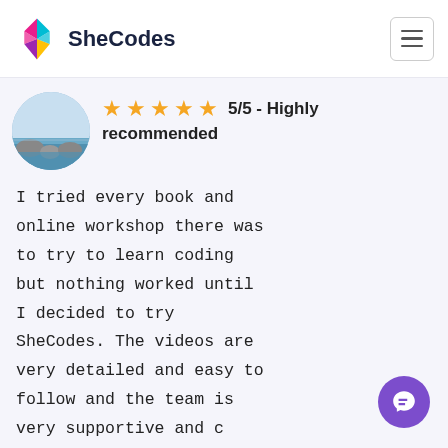[Figure (logo): SheCodes logo — colorful diamond/gem shape with pink, teal, yellow, and purple facets next to bold dark text 'SheCodes']
5/5 - Highly recommended
[Figure (photo): Circular cropped avatar photo of a person, showing a lakeside/seaside landscape scene with rocks and water]
I tried every book and online workshop there was to try to learn coding but nothing worked until I decided to try SheCodes. The videos are very detailed and easy to follow and the team is very supportive and c[ontinue] to respond if you get [stuck]